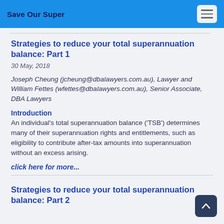Save Our Super
Strategies to reduce your total superannuation balance: Part 1
30 May, 2018
Joseph Cheung (jcheung@dbalawyers.com.au), Lawyer and William Fettes (wfettes@dbalawyers.com.au), Senior Associate, DBA Lawyers
Introduction
An individual's total superannuation balance ('TSB') determines many of their superannuation rights and entitlements, such as eligibility to contribute after-tax amounts into superannuation without an excess arising.
click here for more...
Strategies to reduce your total superannuation balance: Part 2